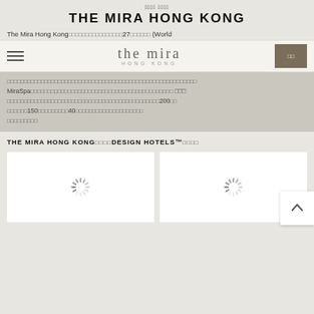THE MIRA HONG KONG
The Mira Hong Kong [CJK text] 27 [CJK text] (World...)
[Figure (screenshot): The Mira Hong Kong website navigation bar with hamburger menu, 'the mira HONG KONG' logo, and a CJK button]
Body text in CJK characters describing the hotel including MiraSpa, 200, 150, 40
THE MIRA HONG KONG [CJK] DESIGN HOTELS™ [CJK]
[Figure (photo): Two white image placeholder boxes with loading spinners]